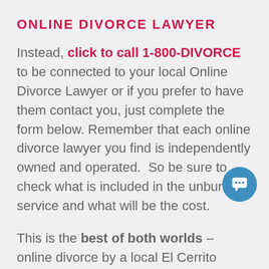ONLINE DIVORCE LAWYER
Instead, click to call 1-800-DIVORCE to be connected to your local Online Divorce Lawyer or if you prefer to have them contact you, just complete the form below. Remember that each online divorce lawyer you find is independently owned and operated.  So be sure to check what is included in the unbundled service and what will be the cost.
This is the best of both worlds – online divorce by a local El Cerrito lawyer.